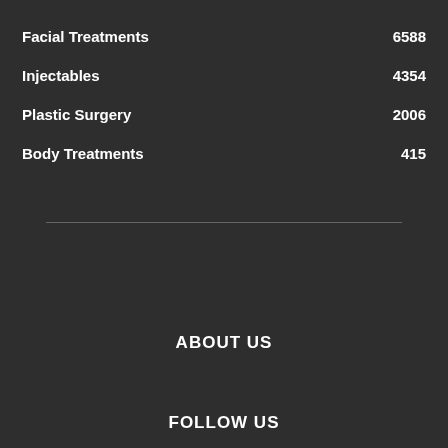Facial Treatments 6588
Injectables 4354
Plastic Surgery 2006
Body Treatments 415
ABOUT US
FOLLOW US